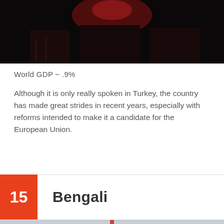[Figure (photo): Dark photograph with reddish light, appears to be a nighttime or low-light scene]
World GDP ~ .9%
Although it is only really spoken in Turkey, the country has made great strides in recent years, especially with reforms intended to make it a candidate for the European Union.
15 Bengali
[Figure (photo): Outdoor photo showing a flag and structures against a grey sky, partially visible at bottom]